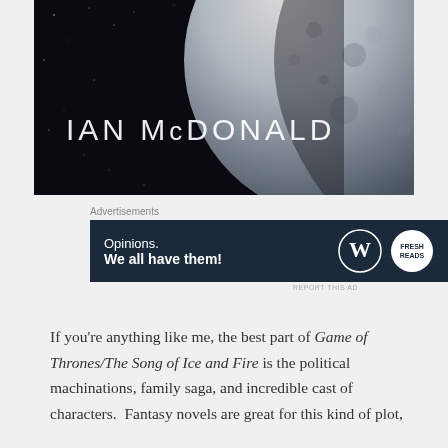[Figure (illustration): Book cover showing the moon in space with text 'IAN McDONALD' overlaid in white on a dark starry background.]
Advertisements
[Figure (screenshot): Advertisement banner with dark navy background reading 'Opinions. We all have them!' with WordPress and another logo on the right.]
REPORT THIS AD
If you're anything like me, the best part of Game of Thrones/The Song of Ice and Fire is the political machinations, family saga, and incredible cast of characters.  Fantasy novels are great for this kind of plot,